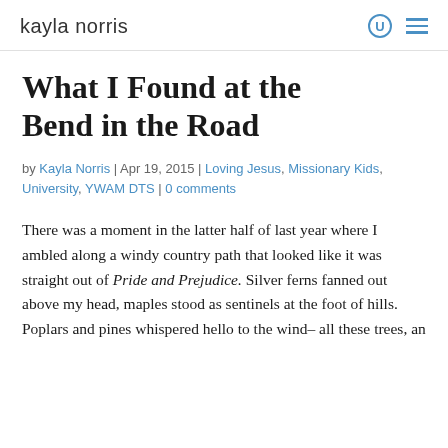kayla norris
What I Found at the Bend in the Road
by Kayla Norris | Apr 19, 2015 | Loving Jesus, Missionary Kids, University, YWAM DTS | 0 comments
There was a moment in the latter half of last year where I ambled along a windy country path that looked like it was straight out of Pride and Prejudice. Silver ferns fanned out above my head, maples stood as sentinels at the foot of hills. Poplars and pines whispered hello to the wind– all these trees, an